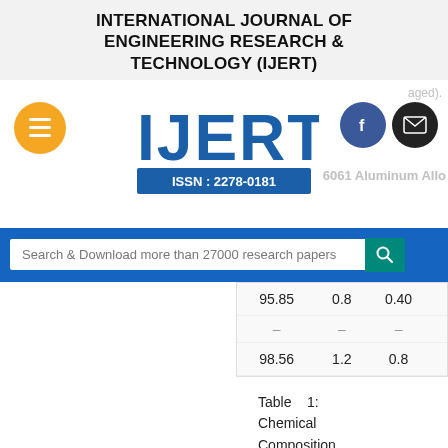INTERNATIONAL JOURNAL OF ENGINEERING RESEARCH & TECHNOLOGY (IJERT)
[Figure (logo): IJERT logo with ISSN: 2278-0181, hamburger menu button, Facebook icon, and email icon]
Search & Download more than 27000 research papers
| 95.85 | 0.8 | 0.40 |  |
| – | – | – |  |
| 98.56 | 1.2 | 0.8 |  |
Table 1: Chemical Composition of Al-6061